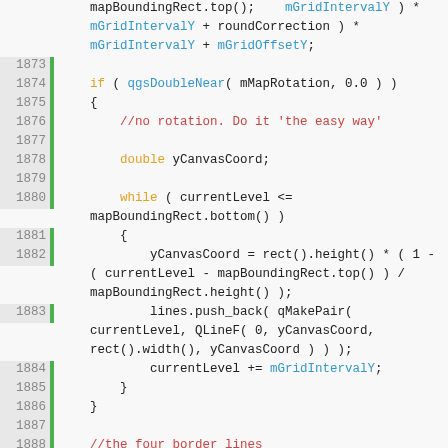[Figure (screenshot): Source code snippet in C++ showing grid interval calculation and border lines logic, lines 1873-1895, with syntax highlighting (keywords in orange, comments in red, member variables in blue).]